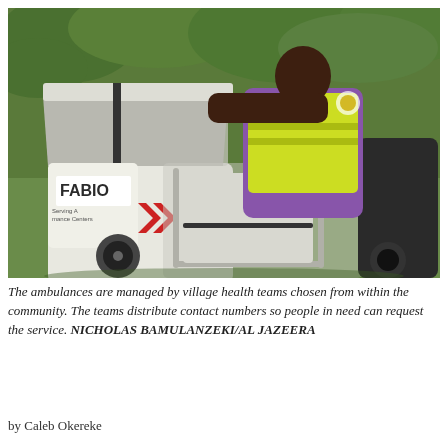[Figure (photo): A man in a yellow safety vest and purple shirt leans over a motorcycle ambulance sidecar branded 'FABIO', checking the inside of the stretcher compartment. The sidecar has a fold-up canopy and red chevron markings. Green vegetation is visible in the background.]
The ambulances are managed by village health teams chosen from within the community. The teams distribute contact numbers so people in need can request the service. NICHOLAS BAMULANZEKI/AL JAZEERA
by Caleb Okereke